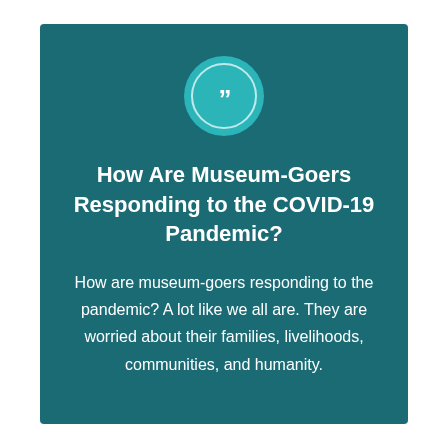[Figure (illustration): Teal circle with a white quotation mark icon inside a white ring outline]
How Are Museum-Goers Responding to the COVID-19 Pandemic?
How are museum-goers responding to the pandemic? A lot like we all are. They are worried about their families, livelihoods, communities, and humanity.